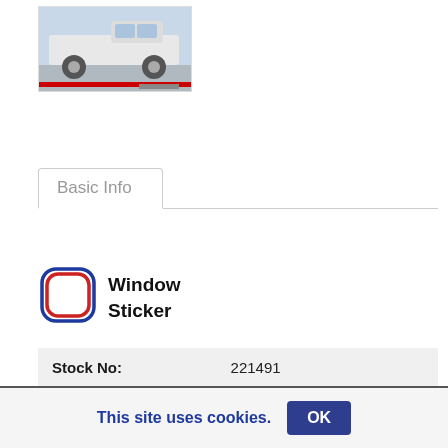[Figure (photo): White pickup truck shown from the side in a dealership/showroom setting]
Basic Info
[Figure (logo): Window Sticker icon - rounded square with red and blue border]
Window Sticker
| Field | Value |
| --- | --- |
| Stock No: | 221491 |
| Odometer: | 15 km |
| Condition: | New |
|  | Bright White |
|  | Automatic |
Bad Credit?
This site uses cookies.